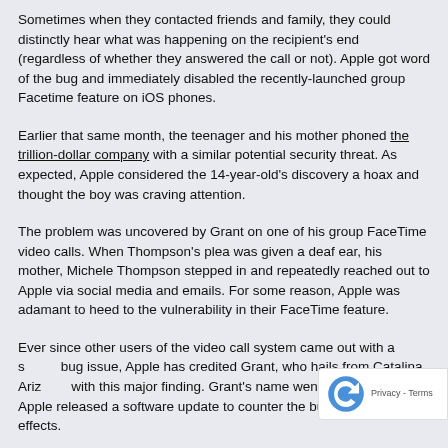Sometimes when they contacted friends and family, they could distinctly hear what was happening on the recipient's end (regardless of whether they answered the call or not). Apple got word of the bug and immediately disabled the recently-launched group Facetime feature on iOS phones.
Earlier that same month, the teenager and his mother phoned the trillion-dollar company with a similar potential security threat. As expected, Apple considered the 14-year-old's discovery a hoax and thought the boy was craving attention.
The problem was uncovered by Grant on one of his group FaceTime video calls. When Thompson's plea was given a deaf ear, his mother, Michele Thompson stepped in and repeatedly reached out to Apple via social media and emails. For some reason, Apple was adamant to heed to the vulnerability in their FaceTime feature.
Ever since other users of the video call system came out with a similar bug issue, Apple has credited Grant, who hails from Catalina, Arizona, with this major finding. Grant's name went viral hours after Apple released a software update to counter the bug's detrimental effects.